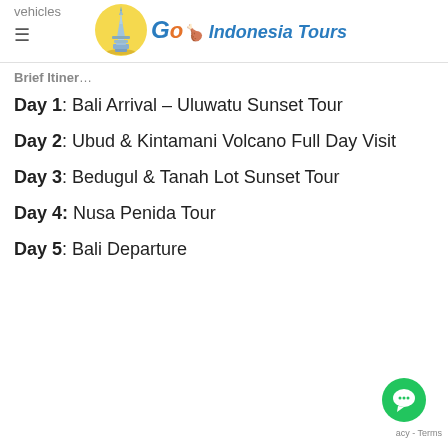vehicles
[Figure (logo): Go Indonesia Tours logo with yellow circular badge containing a pagoda/temple tower illustration, next to stylized cursive text 'Go Indonesia Tours']
Brief Itinerary…
Day 1: Bali Arrival – Uluwatu Sunset Tour
Day 2: Ubud & Kintamani Volcano Full Day Visit
Day 3: Bedugul & Tanah Lot Sunset Tour
Day 4: Nusa Penida Tour
Day 5: Bali Departure
[Figure (other): Green circular chat button with white speech bubble icon]
acy - Terms